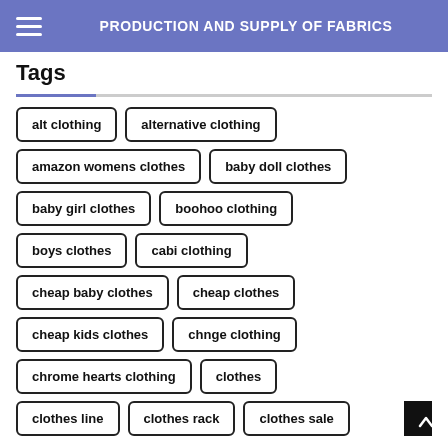PRODUCTION AND SUPPLY OF FABRICS
Tags
alt clothing
alternative clothing
amazon womens clothes
baby doll clothes
baby girl clothes
boohoo clothing
boys clothes
cabi clothing
cheap baby clothes
cheap clothes
cheap kids clothes
chnge clothing
chrome hearts clothing
clothes
clothes line
clothes rack
clothes sale